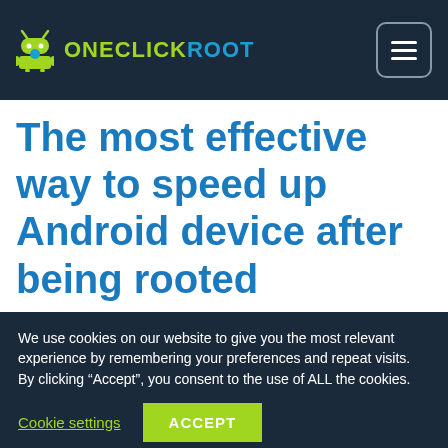ONECLICKROOT
The most effective way to speed up Android device after being rooted
We use cookies on our website to give you the most relevant experience by remembering your preferences and repeat visits. By clicking “Accept”, you consent to the use of ALL the cookies.
Cookie settings  ACCEPT